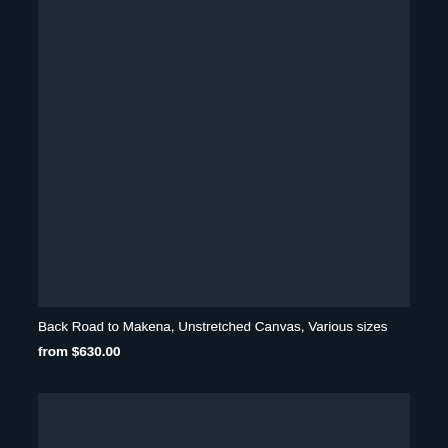[Figure (photo): Product image placeholder — dark teal/navy rectangle representing a painting or artwork titled 'Back Road to Makena']
Back Road to Makena, Unstretched Canvas, Various sizes
from $630.00
[Figure (photo): Partial product image placeholder — dark teal/navy rectangle at the bottom of the page, partially cropped]